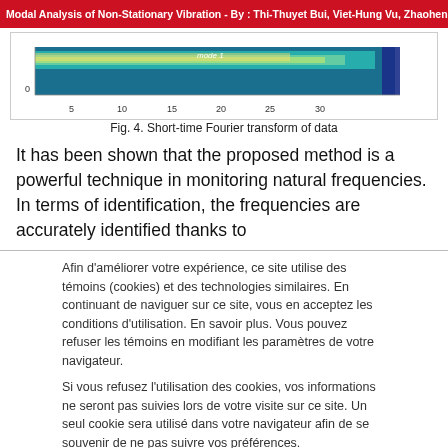Modal Analysis of Non-Stationary Vibration - By : Thi-Thuyet Bui, Viet-Hung Vu, Zhaoheng
[Figure (continuous-plot): Short-time Fourier transform heatmap showing mode 1, x-axis: Time (sample index) from 0 to 35, colorful spectrogram-style visualization.]
Fig. 4. Short-time Fourier transform of data
It has been shown that the proposed method is a powerful technique in monitoring natural frequencies. In terms of identification, the frequencies are accurately identified thanks to
Afin d'améliorer votre expérience, ce site utilise des témoins (cookies) et des technologies similaires. En continuant de naviguer sur ce site, vous en acceptez les conditions d'utilisation. En savoir plus. Vous pouvez refuser les témoins en modifiant les paramètres de votre navigateur.
Si vous refusez l'utilisation des cookies, vos informations ne seront pas suivies lors de votre visite sur ce site. Un seul cookie sera utilisé dans votre navigateur afin de se souvenir de ne pas suivre vos préférences.
J'accepte
Refuser